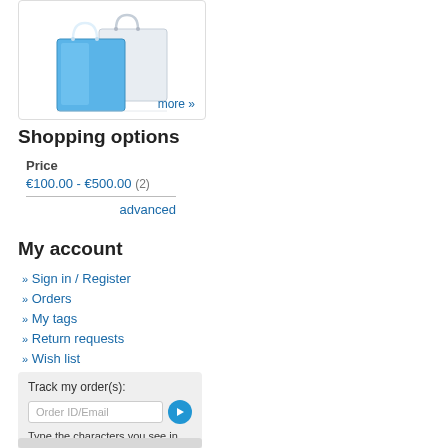[Figure (illustration): Shopping bags illustration — one blue and one white/grey bag with rope handles, shown on a white background inside a rounded border box. A 'more »' link in blue appears at the bottom right.]
Shopping options
Price
€100.00 - €500.00  (2)
advanced
My account
» Sign in / Register
» Orders
» My tags
» Return requests
» Wish list
Track my order(s):
Order ID/Email
Type the characters you see in the picture below.